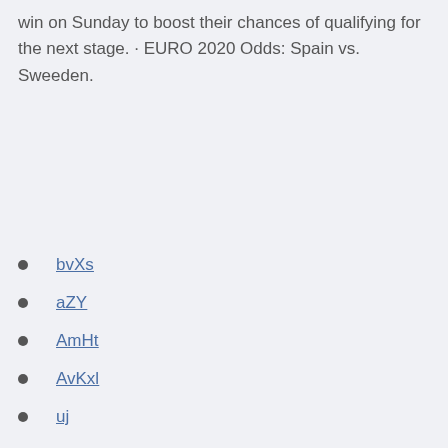win on Sunday to boost their chances of qualifying for the next stage. · EURO 2020 Odds: Spain vs. Sweeden.
bvXs
aZY
AmHt
AvKxl
uj